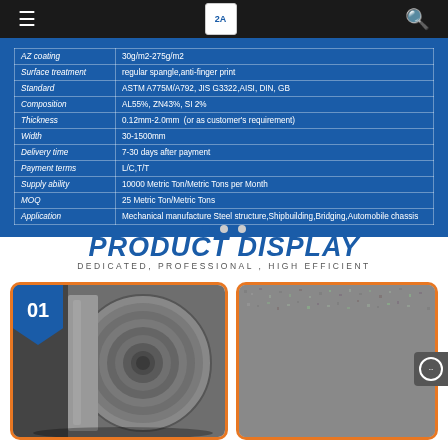Navigation bar with menu, logo, and search icons
| Property | Value |
| --- | --- |
| AZ coating | 30g/m2-275g/m2 |
| Surface treatment | regular spangle,anti-finger print |
| Standard | ASTM A775M/A792, JIS G3322,AISI, DIN, GB |
| Composition | AL55%, ZN43%, SI 2% |
| Thickness | 0.12mm-2.0mm  (or as customer's requirement) |
| Width | 30-1500mm |
| Delivery time | 7-30 days after payment |
| Payment terms | L/C,T/T |
| Supply ability | 10000 Metric Ton/Metric Tons per Month |
| MOQ | 25 Metric Ton/Metric Tons |
| Application | Mechanical manufacture Steel structure,Shipbuilding,Bridging,Automobile chassis |
PRODUCT DISPLAY
DEDICATED, PROFESSIONAL , HIGH EFFICIENT
[Figure (photo): Steel coil roll with blue number 01 badge in top-left corner]
[Figure (photo): Close-up texture of galvalume steel sheet surface]